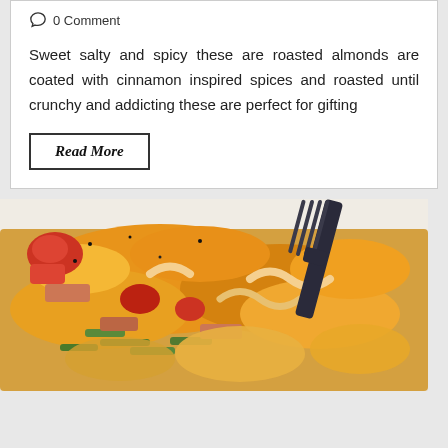0 Comment
Sweet salty and spicy these are roasted almonds are coated with cinnamon inspired spices and roasted until crunchy and addicting these are perfect for gifting
Read More
[Figure (photo): Close-up photo of a cheesy casserole dish with vegetables (green beans, red peppers, tomatoes) topped with melted cheddar cheese, with a dark fork visible in the upper right corner]